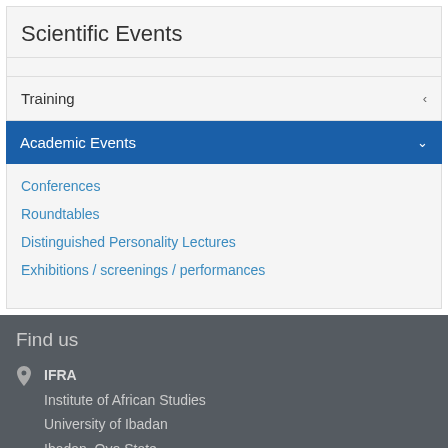Scientific Events
Training
Academic Events
Conferences
Roundtables
Distinguished Personality Lectures
Exhibitions / screenings / performances
Find us
IFRA
Institute of African Studies
University of Ibadan
Ibadan, Oyo State
Nigeria